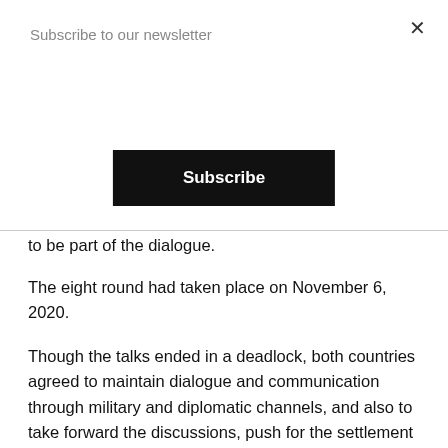Subscribe to our newsletter
Subscribe
to be part of the dialogue.
The eight round had taken place on November 6, 2020.
Though the talks ended in a deadlock, both countries agreed to maintain dialogue and communication through military and diplomatic channels, and also to take forward the discussions, push for the settlement of other outstanding issues, so as to jointly maintain peace and tranquillity in the border areas.
Earlier this month, Indian Army chief General Mano